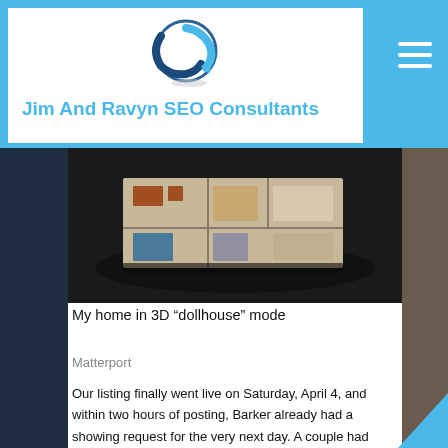[Figure (logo): Jim And Ravyn SEO Consultants logo with circular arrow icon]
Jim And Ravyn SEO Consultants
[Figure (photo): 3D dollhouse view of a home layout photographed from above, showing room structure and furniture in a bird's eye perspective against a dark background]
My home in 3D “dollhouse” mode
Matterport
Our listing finally went live on Saturday, April 4, and within two hours of posting, Barker already had a showing request for the very next day. A couple had loved our condo from